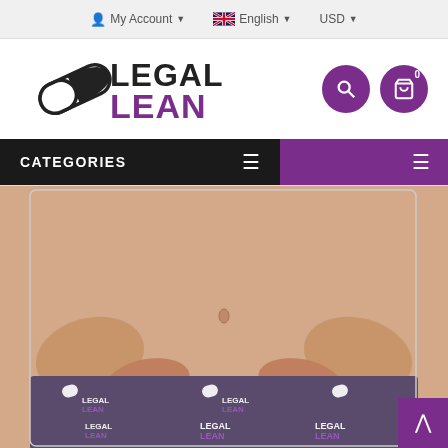My Account | English | USD
[Figure (logo): Legal Lean logo with pill/capsule icon and bold purple LEAN text]
[Figure (screenshot): Search and cart (0) icon buttons in purple circles]
CATEGORIES
[Figure (photo): Product photo: person wearing purple Legal Lean branded shorts/biker shorts with repeating Legal Lean logo pattern]